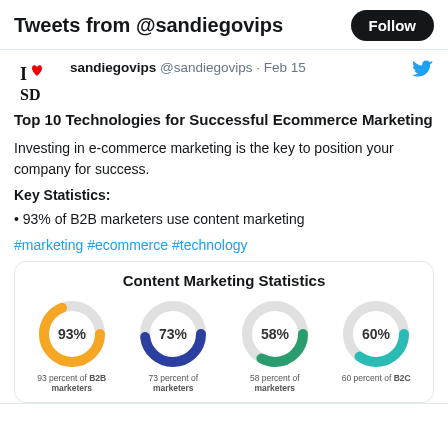Tweets from @sandiegovips
sandiegovips @sandiegovips · Feb 15
Top 10 Technologies for Successful Ecommerce Marketing
Investing in e-commerce marketing is the key to position your company for success.
Key Statistics:
• 93% of B2B marketers use content marketing
#marketing #ecommerce #technology
[Figure (donut-chart): Four donut charts showing content marketing statistics: 93% orange, 73% dark blue, 58% green, 60% teal]